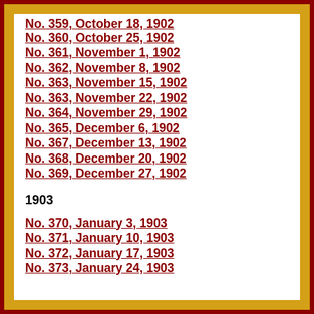No. 359, October 18, 1902
No. 360, October 25, 1902
No. 361, November 1, 1902
No. 362, November 8, 1902
No. 363, November 15, 1902
No. 363, November 22, 1902
No. 364, November 29, 1902
No. 365, December 6, 1902
No. 367, December 13, 1902
No. 368, December 20, 1902
No. 369, December 27, 1902
1903
No. 370, January 3, 1903
No. 371, January 10, 1903
No. 372, January 17, 1903
No. 373, January 24, 1903